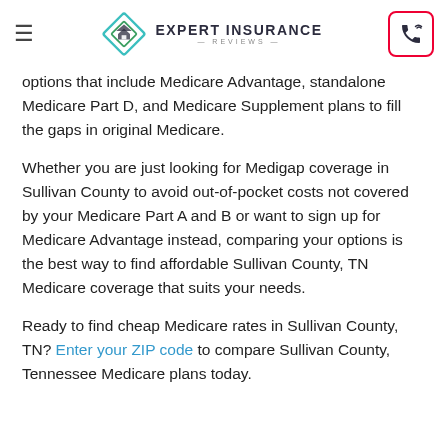Expert Insurance Reviews
options that include Medicare Advantage, standalone Medicare Part D, and Medicare Supplement plans to fill the gaps in original Medicare.
Whether you are just looking for Medigap coverage in Sullivan County to avoid out-of-pocket costs not covered by your Medicare Part A and B or want to sign up for Medicare Advantage instead, comparing your options is the best way to find affordable Sullivan County, TN Medicare coverage that suits your needs.
Ready to find cheap Medicare rates in Sullivan County, TN? Enter your ZIP code to compare Sullivan County, Tennessee Medicare plans today.